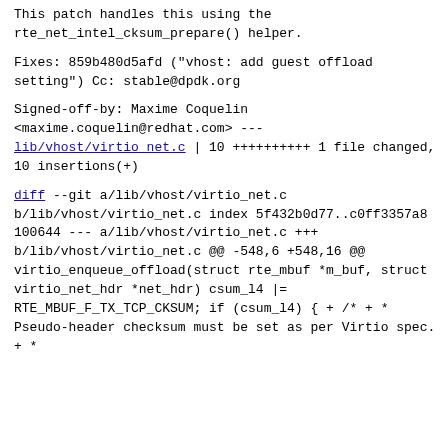This patch handles this using the rte_net_intel_cksum_prepare() helper.
Fixes: 859b480d5afd ("vhost: add guest offload setting")
Cc: stable@dpdk.org
Signed-off-by: Maxime Coquelin <maxime.coquelin@redhat.com>
---
 lib/vhost/virtio_net.c | 10 ++++++++++
 1 file changed, 10 insertions(+)
diff --git a/lib/vhost/virtio_net.c b/lib/vhost/virtio_net.c
index 5f432b0d77..c0ff3357a8 100644
--- a/lib/vhost/virtio_net.c
+++ b/lib/vhost/virtio_net.c
@@ -548,6 +548,16 @@ virtio_enqueue_offload(struct rte_mbuf *m_buf, struct virtio_net_hdr *net_hdr)
                 csum_l4 |=
RTE_MBUF_F_TX_TCP_CKSUM;

         if (csum_l4) {
+                /*
+                 * Pseudo-header checksum must be set as per Virtio spec.
+                 *